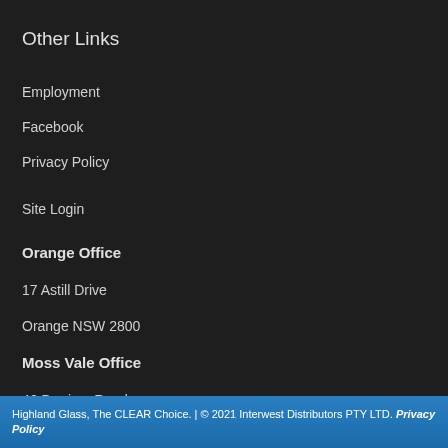Other Links
Employment
Facebook
Privacy Policy
Site Login
Orange Office
17 Astill Drive
Orange NSW 2800
Moss Vale Office
46 Berrima Road
Moss Vale NSW 2577
Highland Glass, The CLEAR Choice. | © 2021 Interwest Distributors PTY LTD. Privacy Policy